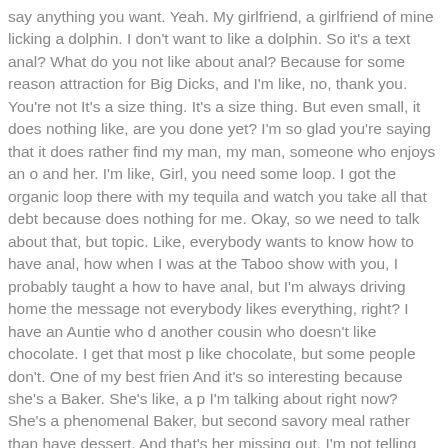say anything you want. Yeah. My girlfriend, a girlfriend of mine licking a dolphin. I don't want to like a dolphin. So it's a text anal? What do you not like about anal? Because for some reason attraction for Big Dicks, and I'm like, no, thank you. You're not It's a size thing. It's a size thing. But even small, it does nothing like, are you done yet? I'm so glad you're saying that it does rather find my man, my man, someone who enjoys an o and her. I'm like, Girl, you need some loop. I got the organic loop there with my tequila and watch you take all that debt because does nothing for me. Okay, so we need to talk about that, but topic. Like, everybody wants to know how to have anal, how when I was at the Taboo show with you, I probably taught a how to have anal, but I'm always driving home the message not everybody likes everything, right? I have an Auntie who d another cousin who doesn't like chocolate. I get that most p like chocolate, but some people don't. One of my best frien And it's so interesting because she's a Baker. She's like, a p I'm talking about right now? She's a phenomenal Baker, but second savory meal rather than have dessert. And that's her missing out. I'm not telling her like, oh, you've got to try it